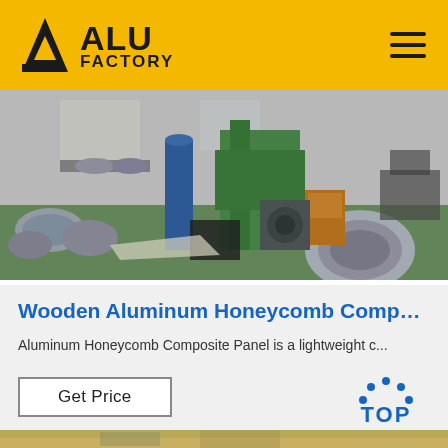ALU FACTORY
[Figure (photo): Factory interior showing industrial machinery, aluminum rolls, and equipment on a green floor.]
Wooden Aluminum Honeycomb Composit...
Aluminum Honeycomb Composite Panel is a lightweight c...
[Figure (other): Get Price button and TOP badge icon]
[Figure (photo): Partial view of another factory/product image at the bottom of the page.]